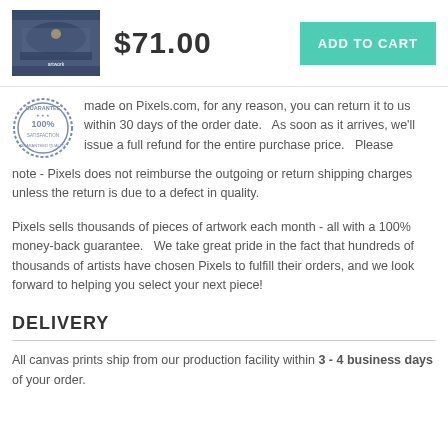[Figure (photo): Thumbnail of artwork (Last Supper style painting)]
$71.00
ADD TO CART
[Figure (illustration): Satisfaction guarantee stamp/seal with stars]
made on Pixels.com, for any reason, you can return it to us within 30 days of the order date.   As soon as it arrives, we'll issue a full refund for the entire purchase price.   Please note - Pixels does not reimburse the outgoing or return shipping charges unless the return is due to a defect in quality.
Pixels sells thousands of pieces of artwork each month - all with a 100% money-back guarantee.   We take great pride in the fact that hundreds of thousands of artists have chosen Pixels to fulfill their orders, and we look forward to helping you select your next piece!
DELIVERY
All canvas prints ship from our production facility within 3 - 4 business days of your order.